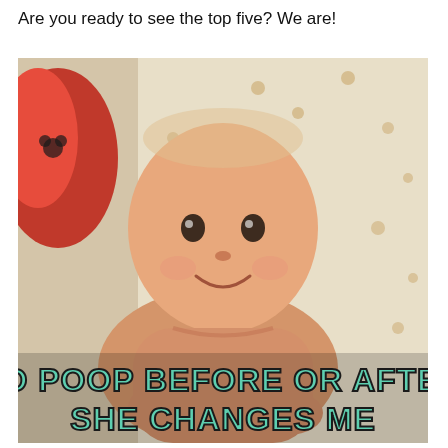Are you ready to see the top five? We are!
[Figure (photo): A smiling baby lying on a blanket with a meme text overlay reading 'TO POOP BEFORE OR AFTER SHE CHANGES ME' in teal/green stylized letters]